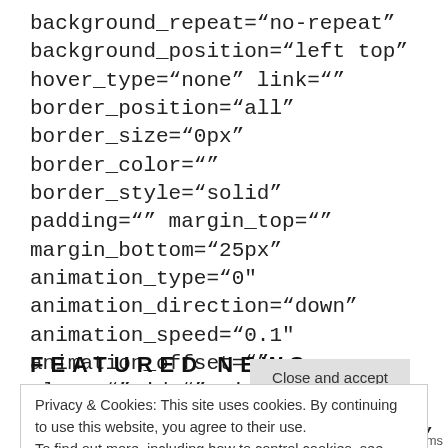background_repeat="no-repeat" background_position="left top" hover_type="none" link="" border_position="all" border_size="0px" border_color="" border_style="solid" padding="" margin_top="" margin_bottom="25px" animation_type="0″ animation_direction="down" animation_speed="0.1″ animation_offset="" class="" id="" min_height=""][fusion_text]
FEATURED NEWS
Privacy & Cookies: This site uses cookies. By continuing to use this website, you agree to their use.
To find out more, including how to control cookies, see here:
Cookie Policy
Close and accept
icon circle color="" width=""